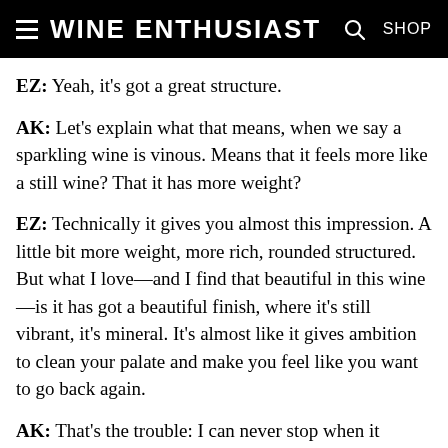Wine Enthusiast
EZ: Yeah, it's got a great structure.
AK: Let's explain what that means, when we say a sparkling wine is vinous. Means that it feels more like a still wine? That it has more weight?
EZ: Technically it gives you almost this impression. A little bit more weight, more rich, rounded structured. But what I love—and I find that beautiful in this wine—is it has got a beautiful finish, where it's still vibrant, it's mineral. It's almost like it gives ambition to clean your palate and make you feel like you want to go back again.
AK: That's the trouble: I can never stop when it comes to sparkling wine.
Now, thinking that we've had three fundamentally different wines, we've spoken about food pairings for all